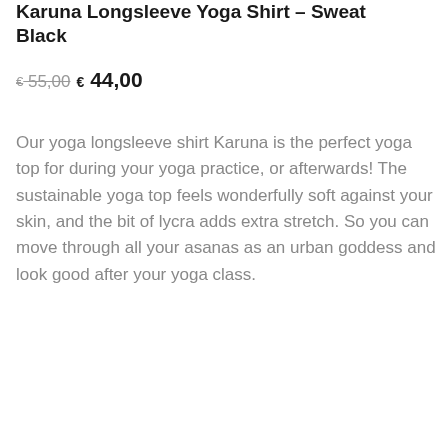Karuna Longsleeve Yoga Shirt – Sweat Black
€ 55,00  € 44,00
Our yoga longsleeve shirt Karuna is the perfect yoga top for during your yoga practice, or afterwards! The sustainable yoga top feels wonderfully soft against your skin, and the bit of lycra adds extra stretch. So you can move through all your asanas as an urban goddess and look good after your yoga class.